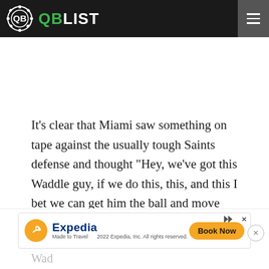QB LIST
It’s clear that Miami saw something on tape against the usually tough Saints defense and thought “Hey, we’ve got this Waddle guy, if we do this, this, and this I bet we can get him the ball and move the chains.” They did exactly what they thought they could do.
[Figure (other): Expedia advertisement banner with logo, 'Made to Travel' tagline, and 'Book Now' button]
Wad